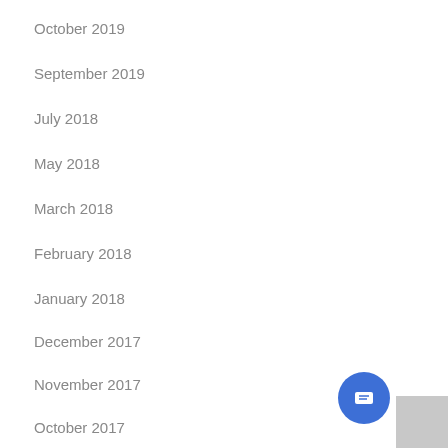October 2019
September 2019
July 2018
May 2018
March 2018
February 2018
January 2018
December 2017
November 2017
October 2017
September 2017